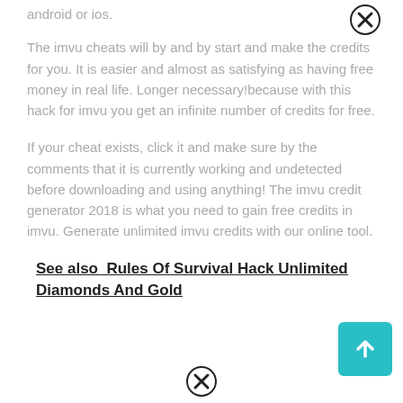android or ios.
The imvu cheats will by and by start and make the credits for you. It is easier and almost as satisfying as having free money in real life. Longer necessary!because with this hack for imvu you get an infinite number of credits for free.
If your cheat exists, click it and make sure by the comments that it is currently working and undetected before downloading and using anything! The imvu credit generator 2018 is what you need to gain free credits in imvu. Generate unlimited imvu credits with our online tool.
See also  Rules Of Survival Hack Unlimited Diamonds And Gold